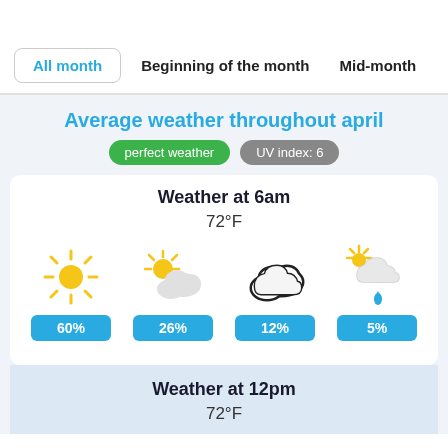All month | Beginning of the month | Mid-month
Average weather throughout april
perfect weather   UV index: 6
Weather at 6am
72°F
[Figure (infographic): Four weather icons in a row: sun (60%), partly cloudy (26%), cloudy (12%), sun with rain cloud (5%)]
Weather at 12pm
72°F